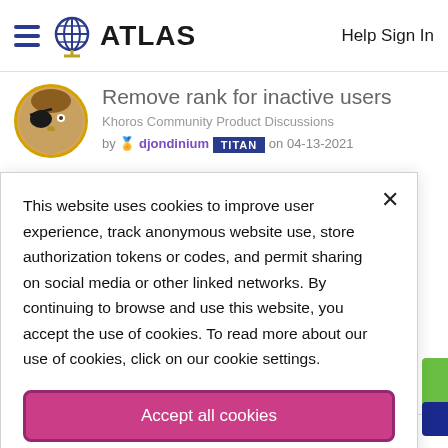ATLAS  Help Sign In
Remove rank for inactive users
Khoros Community Product Discussions
by djondinium TITAN on 04-13-2021
This website uses cookies to improve user experience, track anonymous website use, store authorization tokens or codes, and permit sharing on social media or other linked networks. By continuing to browse and use this website, you accept the use of cookies. To read more about our use of cookies, click on our cookie settings.
Accept all cookies
Cookies settings
by Toby TITAN on 07-27-2020 09:08 AM •